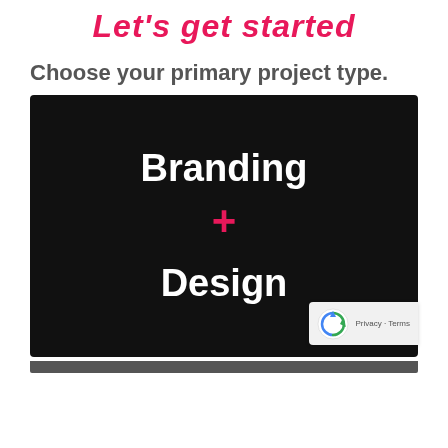Let's get started
Choose your primary project type.
[Figure (illustration): Black card with white bold text 'Branding' at top, a pink/magenta plus sign '+' in the middle, and white bold text 'Design' at the bottom. A reCAPTCHA badge is overlaid at the bottom-right corner.]